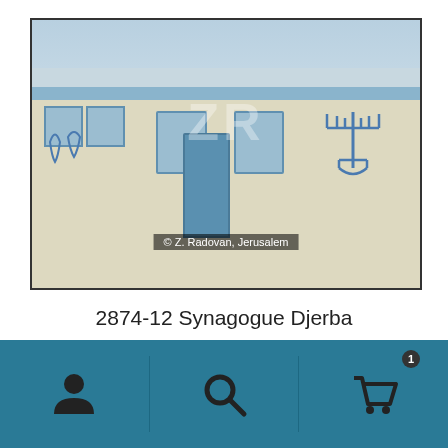[Figure (photo): Exterior photograph of Synagogue Djerba showing white-washed building facade with blue trim, decorative Jewish symbols including a menorah painted on the wall, blue-framed windows and door. Copyright watermark 'ZR' visible. © Z. Radovan, Jerusalem]
2874-12 Synagogue Djerba
For layout purposes only:  ⬇  Download picture
Print picture   Add to Selected
[Figure (other): Bottom navigation bar with teal/dark cyan background containing three icon buttons: person/user icon, search magnifying glass icon, and shopping cart icon with badge showing '1']